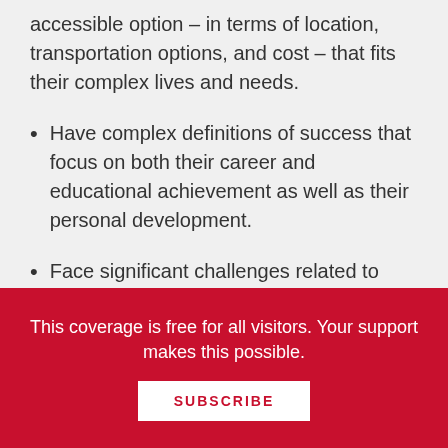accessible option – in terms of location, transportation options, and cost – that fits their complex lives and needs.
Have complex definitions of success that focus on both their career and educational achievement as well as their personal development.
Face significant challenges related to balancing work and school, finances, childcare arrangements, language barriers, transportation to and from the
This coverage is free for all visitors. Your support makes this possible.
SUBSCRIBE